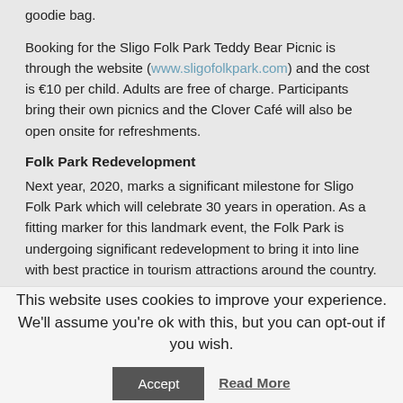goodie bag.
Booking for the Sligo Folk Park Teddy Bear Picnic is through the website (www.sligofolkpark.com) and the cost is €10 per child. Adults are free of charge. Participants bring their own picnics and the Clover Café will also be open onsite for refreshments.
Folk Park Redevelopment
Next year, 2020, marks a significant milestone for Sligo Folk Park which will celebrate 30 years in operation. As a fitting marker for this landmark event, the Folk Park is undergoing significant redevelopment to bring it into line with best practice in tourism attractions around the country.
This website uses cookies to improve your experience. We'll assume you're ok with this, but you can opt-out if you wish.